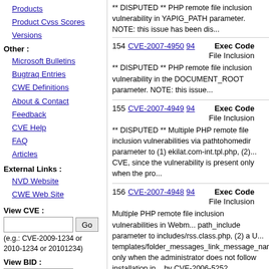Products
Product Cvss Scores
Versions
Other :
Microsoft Bulletins
Bugtraq Entries
CWE Definitions
About & Contact
Feedback
CVE Help
FAQ
Articles
External Links :
NVD Website
CWE Web Site
View CVE :
(e.g.: CVE-2009-1234 or 2010-1234 or 20101234)
View BID :
(e.g.: 12345)
Search By Microsoft
** DISPUTED ** PHP remote file inclusion vulnerability in YAPIG_PATH parameter. NOTE: this issue has been dis...
| # | CVE | Type | Score |
| --- | --- | --- | --- |
| 154 | CVE-2007-4950 94 | Exec Code / File Inclusion |  |
| 155 | CVE-2007-4949 94 | Exec Code / File Inclusion |  |
| 156 | CVE-2007-4948 94 | Exec Code / File Inclusion |  |
| 157 | CVE-2007-4947 94 | Exec Code / File Inclusion |  |
| 158 | CVE-2007-4946 | +Info |  |
** DISPUTED ** PHP remote file inclusion vulnerability in the DOCUMENT_ROOT parameter. NOTE: this issue...
** DISPUTED ** Multiple PHP remote file inclusion vulnerabilities via pathtohomedir parameter to (1) ekilat.com-int.tpl.php, (2)... CVE, since the vulnerability is present only when the pro...
Multiple PHP remote file inclusion vulnerabilities in Webm... path_include parameter to includes/rss.class.php, (2) a U... templates/folder_messages_link_message_name.tpl.php... only when the administrator does not follow installation in... by CVE-2006-5252.
Multiple PHP remote file inclusion vulnerabilities in myph... help1.php, (2) help2.php, (3) help3.php, (4) help4.php, (5...